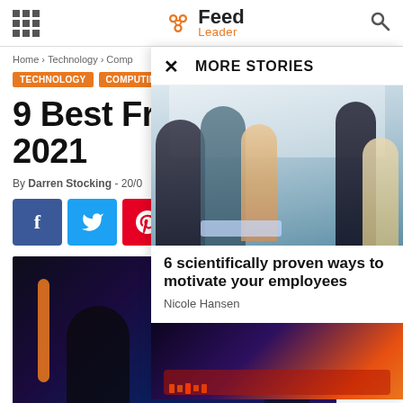Feed Leader
Home > Technology > Comp...
TECHNOLOGY  COMPUTING
9 Best Free 2021
By Darren Stocking - 20/0...
[Figure (screenshot): Social share buttons: Facebook, Twitter, Pinterest, and another button]
[Figure (photo): Dark themed photo of person at computer with orange light and globe effect]
MORE STORIES
[Figure (photo): Office meeting photo with multiple professionals gathered around laptop]
6 scientifically proven ways to motivate your employees
Nicole Hansen
[Figure (photo): Dark gaming/tech themed photo with keyboard and colorful lights]